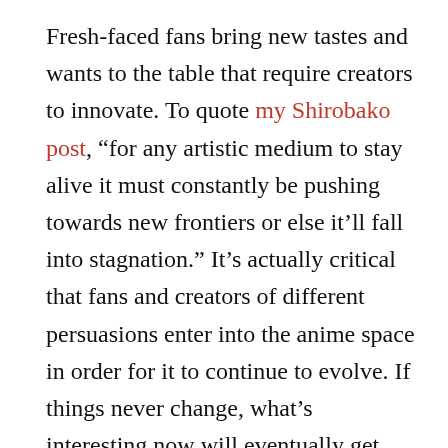Fresh-faced fans bring new tastes and wants to the table that require creators to innovate. To quote my Shirobako post, “for any artistic medium to stay alive it must constantly be pushing towards new frontiers or else it’ll fall into stagnation.” It’s actually critical that fans and creators of different persuasions enter into the anime space in order for it to continue to evolve. If things never change, what’s interesting now will eventually get stale as recycled ideas become the norm. An influx of fresh ideas means that creators can find new means through which to tell stories. Even if the old guard of the industry doesn’t adapt, young up-and-comers with modern sensibilities will steer the medium in exciting directions. Different can be good if you have an open mind! I once again use Kemono Friends and its